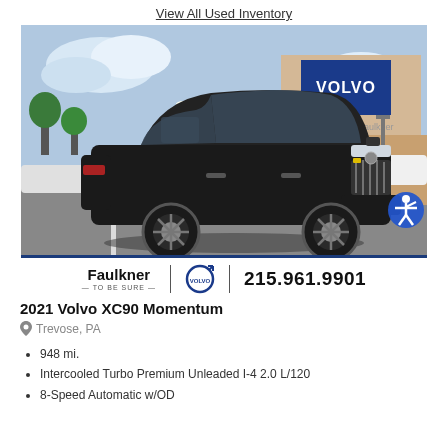View All Used Inventory
[Figure (photo): A dark-colored 2021 Volvo XC90 Momentum SUV parked in front of a Faulkner Volvo dealership with a blue Volvo sign visible in the background. An accessibility icon badge is visible in the lower right of the image.]
Faulkner  TO BE SURE  [Volvo logo]  215.961.9901
2021 Volvo XC90 Momentum
Trevose, PA
948 mi.
Intercooled Turbo Premium Unleaded I-4 2.0 L/120
8-Speed Automatic w/OD